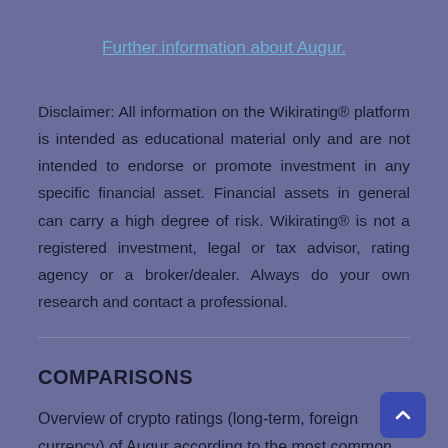Further information about Augur.
Disclaimer: All information on the Wikirating® platform is intended as educational material only and are not intended to endorse or promote investment in any specific financial asset. Financial assets in general can carry a high degree of risk. Wikirating® is not a registered investment, legal or tax advisor, rating agency or a broker/dealer. Always do your own research and contact a professional.
COMPARISONS
Overview of crypto ratings (long-term, foreign currency) of Augur according to the most common crypto rating agencies (CRA) and available rating models/in...